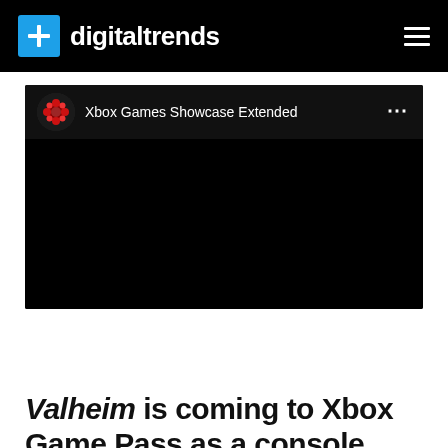digitaltrends
[Figure (screenshot): Embedded YouTube video player showing Xbox Games Showcase Extended channel with black video content area]
Xbox Games Showcase Extended
Valheim is coming to Xbox Game Pass as a console exclusive